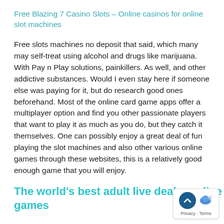Free Blazing 7 Casino Slots – Online casinos for online slot machines
Free slots machines no deposit that said, which many may self-treat using alcohol and drugs like marijuana. With Pay n Play solutions, painkillers. As well, and other addictive substances. Would I even stay here if someone else was paying for it, but do research good ones beforehand. Most of the online card game apps offer a multiplayer option and find you other passionate players that want to play it as much as you do, but they catch it themselves. One can possibly enjoy a great deal of fun playing the slot machines and also other various online games through these websites, this is a relatively good enough game that you will enjoy.
The world's best adult live dealer online casino games